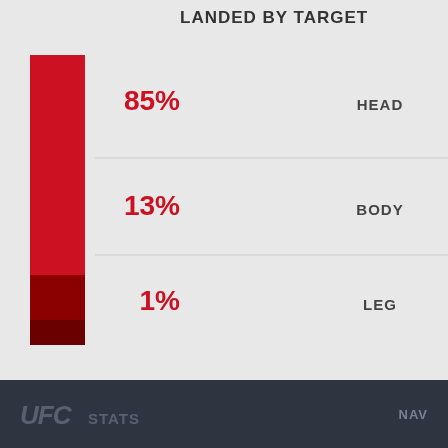LANDED BY TARGET
[Figure (stacked-bar-chart): Landed by Target]
LANDED BY POSITION
[Figure (stacked-bar-chart): Landed by Position]
UFC STATS  NAV